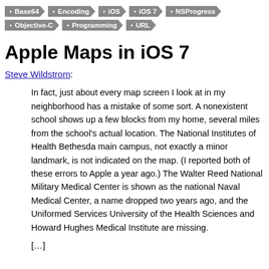Base64 • Encoding • iOS • iOS 7 • NSProgress • Objective-C • Programming • URL
Apple Maps in iOS 7
Steve Wildstrom:
In fact, just about every map screen I look at in my neighborhood has a mistake of some sort. A nonexistent school shows up a few blocks from my home, several miles from the school's actual location. The National Institutes of Health Bethesda main campus, not exactly a minor landmark, is not indicated on the map. (I reported both of these errors to Apple a year ago.) The Walter Reed National Military Medical Center is shown as the national Naval Medical Center, a name dropped two years ago, and the Uniformed Services University of the Health Sciences and Howard Hughes Medical Institute are missing.
[…]